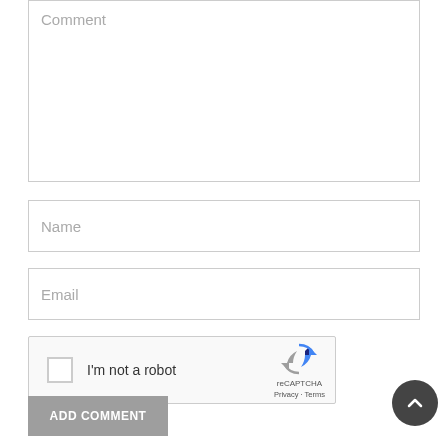Comment
Name
Email
[Figure (screenshot): reCAPTCHA widget with checkbox labeled I'm not a robot, reCAPTCHA logo, Privacy and Terms links]
ADD COMMENT
[Figure (other): Scroll-to-top circular dark button with upward chevron arrow]